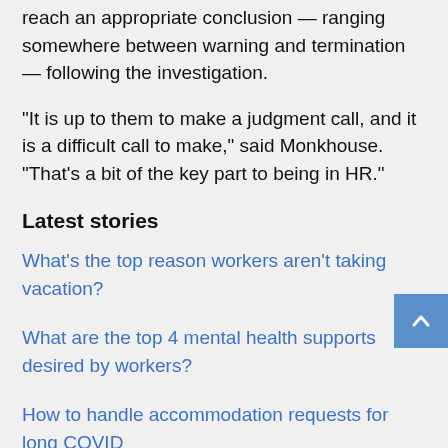reach an appropriate conclusion — ranging somewhere between warning and termination — following the investigation.
“It is up to them to make a judgment call, and it is a difficult call to make,” said Monkhouse. “That’s a bit of the key part to being in HR.”
Latest stories
What’s the top reason workers aren’t taking vacation?
What are the top 4 mental health supports desired by workers?
How to handle accommodation requests for long COVID